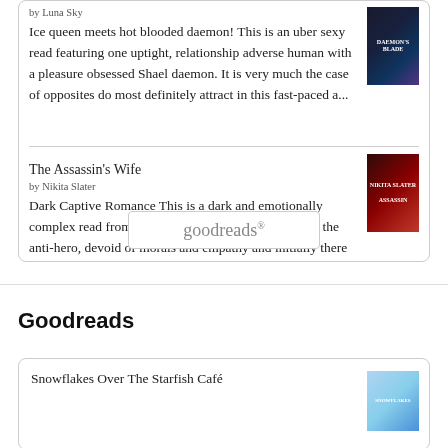by Luna Sky
Ice queen meets hot blooded daemon! This is an uber sexy read featuring one uptight, relationship adverse human with a pleasure obsessed Shael daemon. It is very much the case of opposites do most definitely attract in this fast-paced a...
The Assassin's Wife
by Nikita Slater
Dark Captive Romance This is a dark and emotionally complex read from start to finish. David is very much the anti-hero, devoid of morals and empathy and initially there was little if anything to make me warm to him. Natasha, a young ba...
[Figure (logo): Goodreads logo inside a rounded rectangle button]
Goodreads
Snowflakes Over The Starfish Café